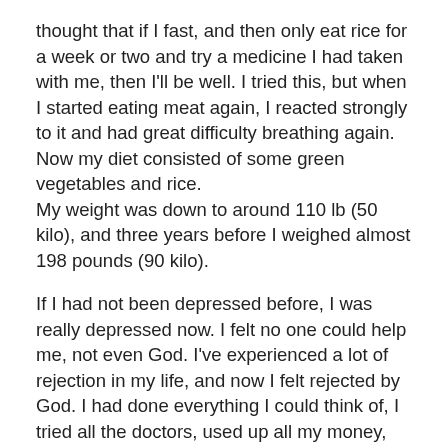thought that if I fast, and then only eat rice for a week or two and try a medicine I had taken with me, then I'll be well. I tried this, but when I started eating meat again, I reacted strongly to it and had great difficulty breathing again. Now my diet consisted of some green vegetables and rice.
My weight was down to around 110 lb (50 kilo), and three years before I weighed almost 198 pounds (90 kilo).
If I had not been depressed before, I was really depressed now. I felt no one could help me, not even God. I've experienced a lot of rejection in my life, and now I felt rejected by God. I had done everything I could think of, I tried all the doctors, used up all my money, and I had and even given myself to God, but nothing had helped. I said to God: Take my life, I will not live anymore. This was what I felt, but deep down inside of me there was something that would not give up. I've always been